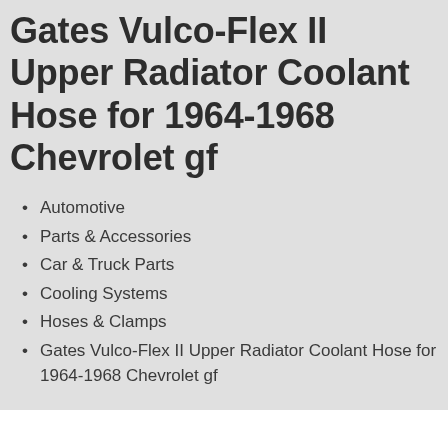Gates Vulco-Flex II Upper Radiator Coolant Hose for 1964-1968 Chevrolet gf
Automotive
Parts & Accessories
Car & Truck Parts
Cooling Systems
Hoses & Clamps
Gates Vulco-Flex II Upper Radiator Coolant Hose for 1964-1968 Chevrolet gf